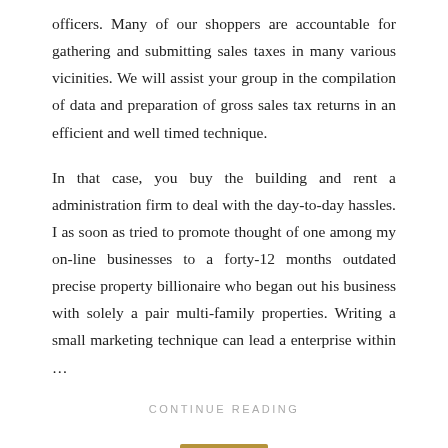officers. Many of our shoppers are accountable for gathering and submitting sales taxes in many various vicinities. We will assist your group in the compilation of data and preparation of gross sales tax returns in an efficient and well timed technique.
In that case, you buy the building and rent a administration firm to deal with the day-to-day hassles. I as soon as tried to promote thought of one among my on-line businesses to a forty-12 months outdated precise property billionaire who began out his business with solely a pair multi-family properties. Writing a small marketing technique can lead a enterprise within …
CONTINUE READING
BUSINESS
5 Tips about Employment Management You